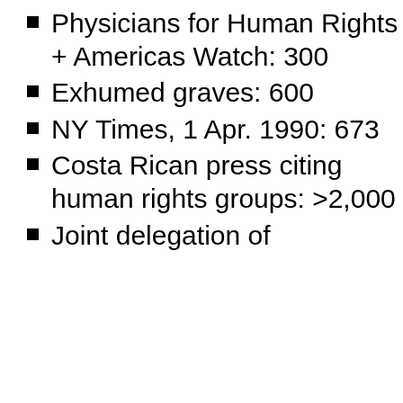Physicians for Human Rights + Americas Watch: 300
Exhumed graves: 600
NY Times, 1 Apr. 1990: 673
Costa Rican press citing human rights groups: >2,000
Joint delegation of